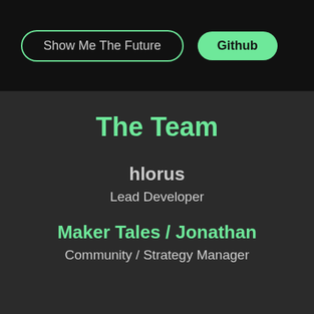Show Me The Future | Github
The Team
hlorus
Lead Developer
Maker Tales / Jonathan
Community / Strategy Manager